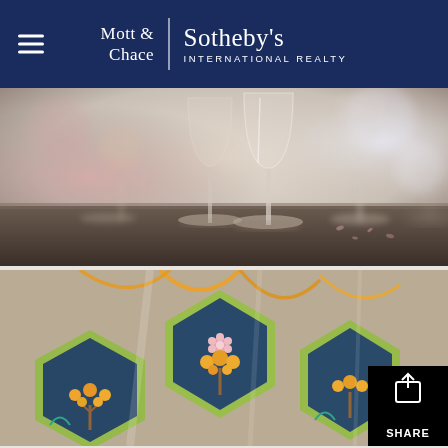[Figure (logo): Mott & Chace Sotheby's International Realty logo on dark navy header with hamburger menu icon]
[Figure (photo): Close-up photo of champagne or wine glass stems on a dark reflective surface, blurred bokeh background]
[Figure (photo): Close-up photo of decorated cookies shaped like hexagons with tree designs in yellow, teal, and navy, wrapped in clear cellophane with orange ribbons. A black share button overlay appears in the bottom right corner.]